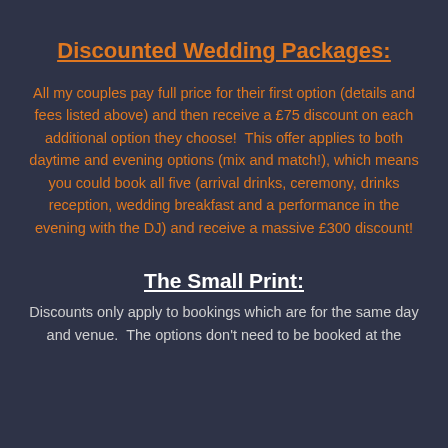Discounted Wedding Packages:
All my couples pay full price for their first option (details and fees listed above) and then receive a £75 discount on each additional option they choose!  This offer applies to both daytime and evening options (mix and match!), which means you could book all five (arrival drinks, ceremony, drinks reception, wedding breakfast and a performance in the evening with the DJ) and receive a massive £300 discount!
The Small Print:
Discounts only apply to bookings which are for the same day and venue.  The options don't need to be booked at the